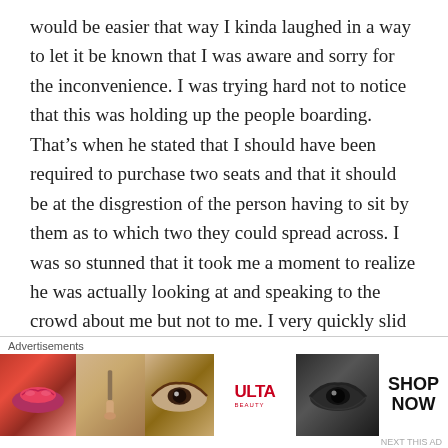would be easier that way I kinda laughed in a way to let it be known that I was aware and sorry for the inconvenience. I was trying hard not to notice that this was holding up the people boarding. That’s when he stated that I should have been required to purchase two seats and that it should be at the disgrestion of the person having to sit by them as to which two they could spread across. I was so stunned that it took me a moment to realize he was actually looking at and speaking to the crowd about me but not to me. I very quickly slid into my seat installed my belt
Advertisements
[Figure (other): Advertisement banner for ULTA Beauty showing makeup-related images (lips with lipstick, makeup brush, eye with eye shadow, ULTA logo, dramatic eye makeup) and a SHOP NOW call to action button.]